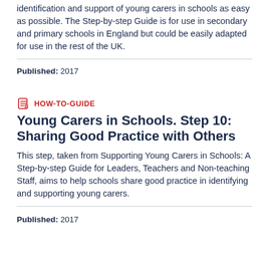identification and support of young carers in schools as easy as possible. The Step-by-step Guide is for use in secondary and primary schools in England but could be easily adapted for use in the rest of the UK.
Published: 2017
HOW-TO-GUIDE
Young Carers in Schools. Step 10: Sharing Good Practice with Others
This step, taken from Supporting Young Carers in Schools: A Step-by-step Guide for Leaders, Teachers and Non-teaching Staff, aims to help schools share good practice in identifying and supporting young carers.
Published: 2017